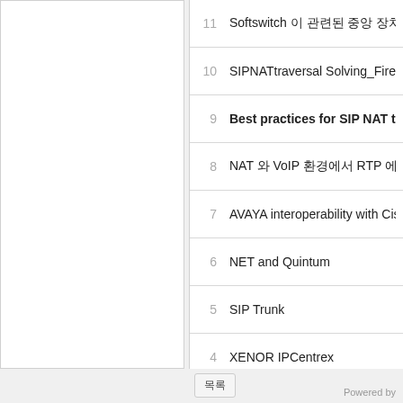11  Softswitch 이 관련된 중앙 장치 에 대한 [icon]
10  SIPNATtraversal Solving_Firewall-N
9  Best practices for SIP NAT traversal
8  NAT 와 VoIP 환경에서 RTP 에서 관련
7  AVAYA interoperability with Cisco ne
6  NET and Quintum
5  SIP Trunk
4  XENOR IPCentrex
3  AVAYA SBC
2  XENOR SBC
1  XENOR Softswitch
목록
Powered by